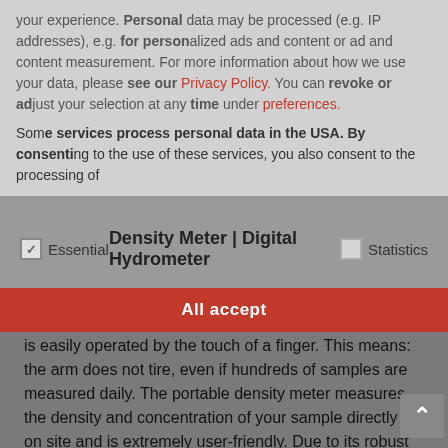your experience. Personal data may be processed (e.g. IP addresses), e.g. for personalized ads and content or ad and content measurement. For more information about how we use your data, please see our Privacy Policy. You can revoke or adjust your selection at any time under preferences.
Some services process personal data in the USA. By consenting to the use of these services, you also consent to the processing of
Essential   Density Meter | Digital Hydrometer   Statistics
All accept
The handheld density meter weighs only 275 g and is easily operated by the touch of a finger. This means: the arm does not tire, even if hundreds of samples are measured daily. The portable density meter measures the density and concentration of your sample directly on site and is extremely user-friendly. Due to its robust yet lightweight design, the density meter guarantees absolute flexibility with regard to the place of use. Your sample is filled into the measuring cell of the density meter by simply pressing the pump button. The instrument